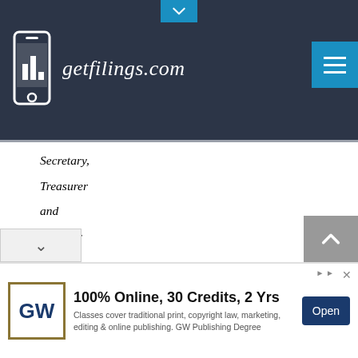getfilings.com
Secretary,
Treasurer
and
Director
| 2014 | $ | $ | $ |
(1) In June 2000, our Board of Directors appointed Mr. Elwood Shepard as our Director, President Secretary and Treasurer. On May 12, 2015, Mr. Chandler resigned from his position as our